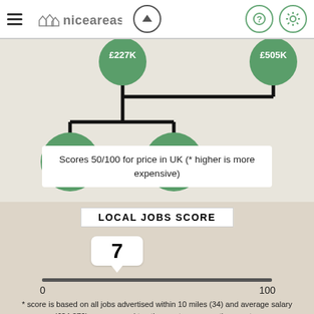niceareas
[Figure (infographic): Tree diagram showing property price nodes: £227K (average), branching to MIN £103K and MED £193K on the left; £505K on the right. Connected by thick black lines.]
Scores 50/100 for price in UK (* higher is more expensive)
LOCAL JOBS SCORE
[Figure (infographic): Score slider showing value of 7 on a scale from 0 to 100, with a speech-bubble tooltip showing '7' above the slider track.]
* score is based on all jobs advertised within 10 miles (34) and average salary (£24,376) as compared to other sectors across the country.